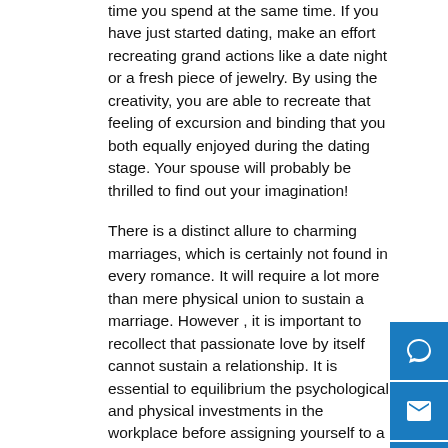time you spend at the same time. If you have just started dating, make an effort recreating grand actions like a date night or a fresh piece of jewelry. By using the creativity, you are able to recreate that feeling of excursion and binding that you both equally enjoyed during the dating stage. Your spouse will probably be thrilled to find out your imagination!
There is a distinct allure to charming marriages, which is certainly not found in every romance. It will require a lot more than mere physical union to sustain a marriage. However , it is important to recollect that passionate love by itself cannot sustain a relationship. It is essential to equilibrium the psychological and physical investments in the workplace before assigning yourself to a long-term relationship. Here are some tips that will help you create a charming marriage:
The first step into a successful romantic union is to find a spouse who shares the same valuations as you do. You need to be compatible with the different person's personality and beliefs. Because of this you must converse your emotions and try to make them happy. In addition , you should not allow your partner control you.